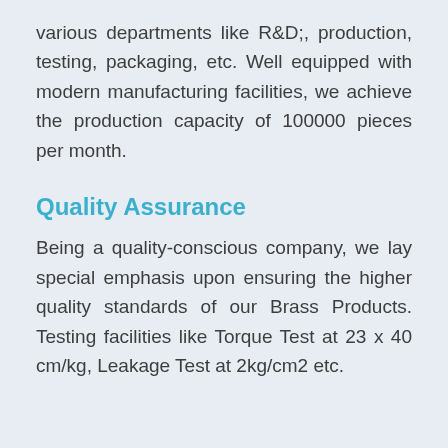various departments like R&D;, production, testing, packaging, etc. Well equipped with modern manufacturing facilities, we achieve the production capacity of 100000 pieces per month.
Quality Assurance
Being a quality-conscious company, we lay special emphasis upon ensuring the higher quality standards of our Brass Products. Testing facilities like Torque Test at 23 x 40 cm/kg, Leakage Test at 2kg/cm2 etc.